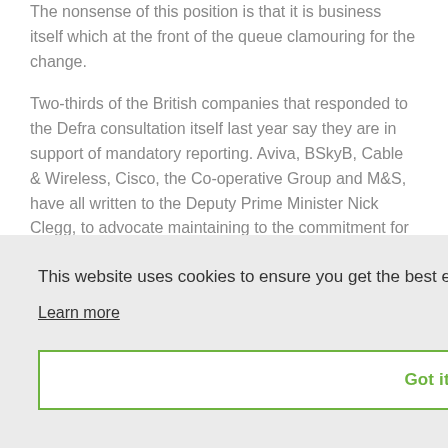The nonsense of this position is that it is business itself which at the front of the queue clamouring for the change.
Two-thirds of the British companies that responded to the Defra consultation itself last year say they are in support of mandatory reporting. Aviva, BSkyB, Cable & Wireless, Cisco, the Co-operative Group and M&S, have all written to the Deputy Prime Minister Nick Clegg, to advocate maintaining to the commitment for the introduction of mandatory carbon reporting
This website uses cookies to ensure you get the best experience on our website.
Learn more
Got it!